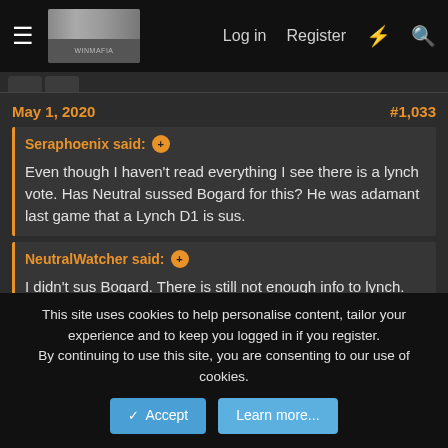Log in  Register
May 1, 2020   #1,033
Seraphoenix said: ↑

Even though I haven't read everything I see there is a lynch vote. Has Neutral sussed Bogard for this? He was adamant last game that a Lynch D1 is sus.
NeutralWatcher said: ↑

I didn't sus Bogard. There is still not enough info to lynch. Why are you thinking that I sus Bogard? Also it seems like you want to portray me to have different meta in this game because according to you my meta in last game is no lynch on D1 while in this game you said I sus Bogard.
This site uses cookies to help personalise content, tailor your experience and to keep you logged in if you register.
By continuing to use this site, you are consenting to our use of cookies.